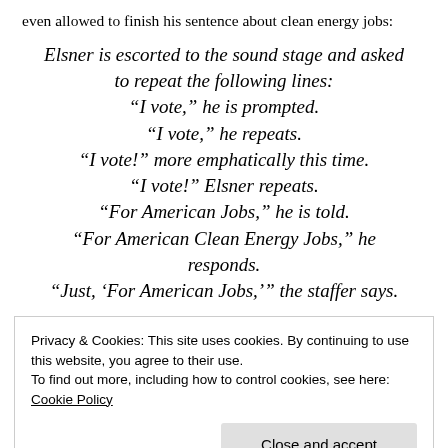even allowed to finish his sentence about clean energy jobs:
Elsner is escorted to the sound stage and asked to repeat the following lines:
“I vote,” he is prompted.
“I vote,” he repeats.
“I vote!” more emphatically this time.
“I vote!” Elsner repeats.
“For American Jobs,” he is told.
“For American Clean Energy Jobs,” he responds.
“Just, ‘For American Jobs,’” the staffer says.
Privacy & Cookies: This site uses cookies. By continuing to use this website, you agree to their use.
To find out more, including how to control cookies, see here: Cookie Policy
script goes.”